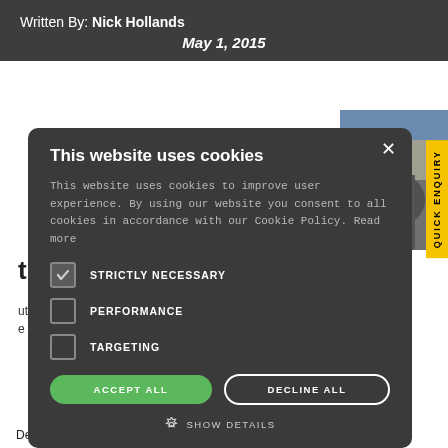Written By: Nick Hollands
May 1, 2015
[Figure (screenshot): Cookie consent modal dialog on a webpage. Modal has dark background, title 'This website uses cookies', body text, checkboxes for STRICTLY NECESSARY (checked), PERFORMANCE, TARGETING, and buttons ACCEPT ALL and DECLINE ALL, plus SHOW DETAILS link. Background shows partial webpage content about the Pool and Miami.]
Dealing with such a large number of cruisers means that